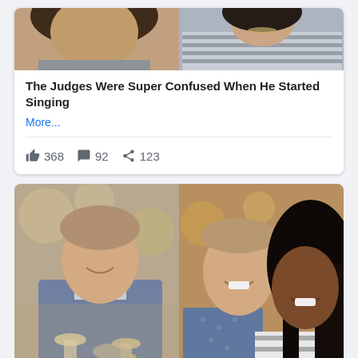[Figure (photo): Top portion of a social media card showing a cropped photo of two women, one in a striped top]
The Judges Were Super Confused When He Started Singing
More...
368  92  123
[Figure (photo): Two side-by-side photos: left shows a man in a blue jacket toasting wine glasses with a woman; right shows a smiling young couple, man in patterned shirt and woman with long dark hair]